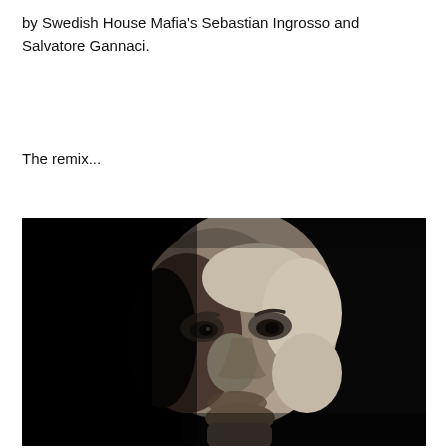by Swedish House Mafia's Sebastian Ingrosso and Salvatore Gannaci.
The remix...
[Figure (photo): Black and white close-up portrait photograph of a bald man with a serious expression, lit dramatically against a dark/black background. The image is cropped to show mainly the face and top of the head.]